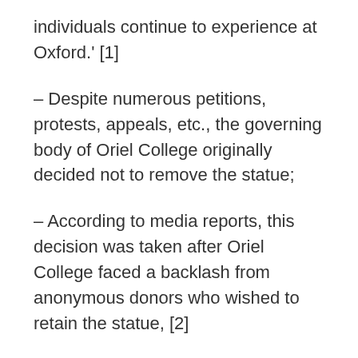individuals continue to experience at Oxford.' [1]
– Despite numerous petitions, protests, appeals, etc., the governing body of Oriel College originally decided not to remove the statue;
– According to media reports, this decision was taken after Oriel College faced a backlash from anonymous donors who wished to retain the statue, [2]
– Since the killing of George Floyd on May 25, 2020, renewed scrutiny has been placed